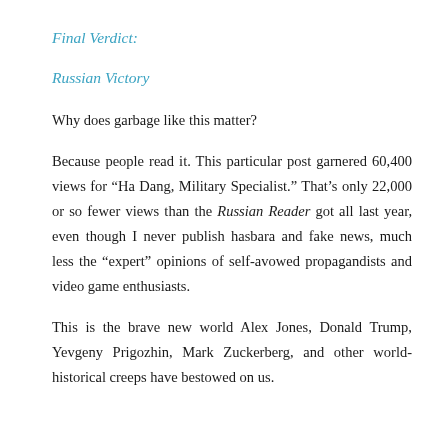Final Verdict:
Russian Victory
Why does garbage like this matter?
Because people read it. This particular post garnered 60,400 views for “Ha Dang, Military Specialist.” That’s only 22,000 or so fewer views than the Russian Reader got all last year, even though I never publish hasbara and fake news, much less the “expert” opinions of self-avowed propagandists and video game enthusiasts.
This is the brave new world Alex Jones, Donald Trump, Yevgeny Prigozhin, Mark Zuckerberg, and other world-historical creeps have bestowed on us.